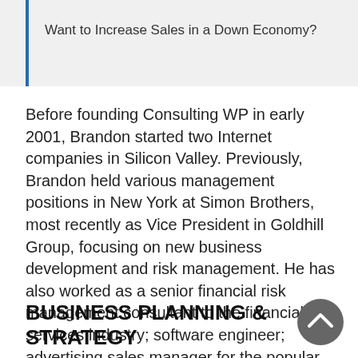Want to Increase Sales in a Down Economy?
Before founding Consulting WP in early 2001, Brandon started two Internet companies in Silicon Valley. Previously, Brandon held various management positions in New York at Simon Brothers, most recently as Vice President in Goldhill Group, focusing on new business development and risk management. He has also worked as a senior financial risk management consultant to the financial services industry; software engineer; advertising sales manager for the popular Caribbean travel guide series; general manager of an advertising and graphic
BUSINESS PLANNING & STRATEGY